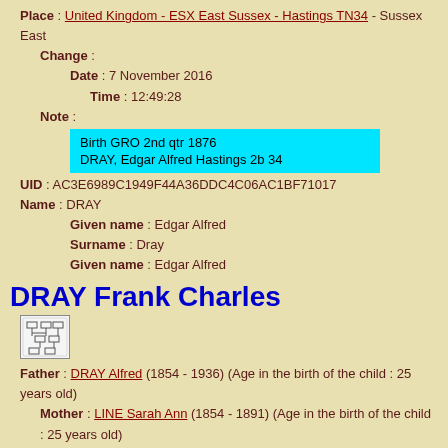Place : United Kingdom - ESX East Sussex - Hastings TN34 - Sussex East
Change :
Date : 7 November 2016
Time : 12:49:28
Note :
Birth GRO 2nd qtr 1876
DRAY, Edgar Alfred Hastings 2b 34
UID : AC3E6989C1949F44A36DDC4C06AC1BF71017
Name : DRAY
Given name : Edgar Alfred
Surname : Dray
Given name : Edgar Alfred
DRAY Frank Charles
[Figure (other): Small genealogy tree icon]
Father : DRAY Alfred (1854 - 1936) (Age in the birth of the child : 25 years old)
Mother : LINE Sarah Ann (1854 - 1891) (Age in the birth of the child : 25 years old)
Siblings :
DRAY Edgar Alfred (1876 United Kingdom - ESX East Sussex -